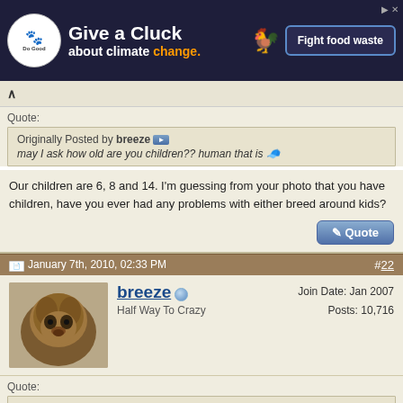[Figure (screenshot): Advertisement banner: 'Give a Cluck about climate change. Fight food waste']
Quote:
Originally Posted by breeze
may I ask how old are you children?? human that is
Our children are 6, 8 and 14. I'm guessing from your photo that you have children, have you ever had any problems with either breed around kids?
January 7th, 2010, 02:33 PM  #22
breeze
Half Way To Crazy
Join Date: Jan 2007
Posts: 10,716
Quote:
Originally Posted by Flicka
OMG!!!!! Breeze, you have my dream pups! They are soooo beautiful!!!! Thanks for the pics, love them I sent the breeder in Tremblant an email to inquire more, hoping to hear back soon, maybe take a ride up. Did you